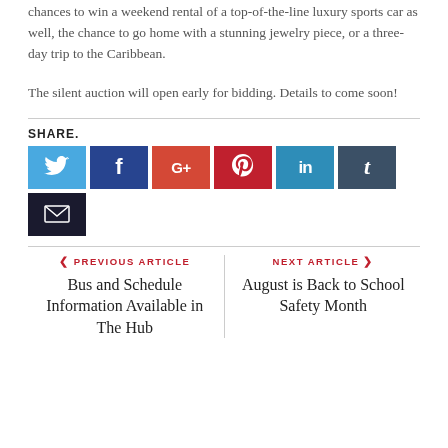chances to win a weekend rental of a top-of-the-line luxury sports car as well, the chance to go home with a stunning jewelry piece, or a three-day trip to the Caribbean.
The silent auction will open early for bidding. Details to come soon!
SHARE.
[Figure (infographic): Social media share buttons: Twitter (blue), Facebook (dark blue), Google+ (red-orange), Pinterest (dark red), LinkedIn (teal blue), Tumblr (dark slate), Email (very dark navy)]
PREVIOUS ARTICLE
Bus and Schedule Information Available in The Hub
NEXT ARTICLE
August is Back to School Safety Month